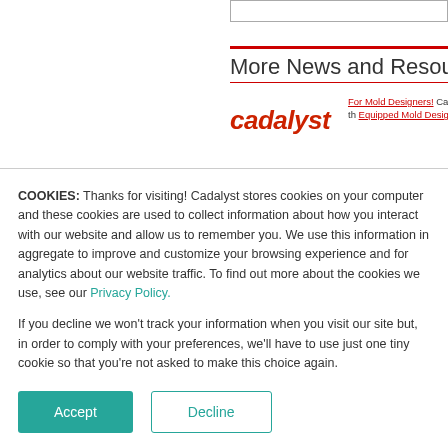More News and Resources
[Figure (logo): Cadalyst logo in red italic bold text]
For Mold Designers! Ca... resources specific to the... Equipped Mold Designers
COOKIES: Thanks for visiting! Cadalyst stores cookies on your computer and these cookies are used to collect information about how you interact with our website and allow us to remember you. We use this information in aggregate to improve and customize your browsing experience and for analytics about our website traffic. To find out more about the cookies we use, see our Privacy Policy.
If you decline we won’t track your information when you visit our site but, in order to comply with your preferences, we’ll have to use just one tiny cookie so that you’re not asked to make this choice again.